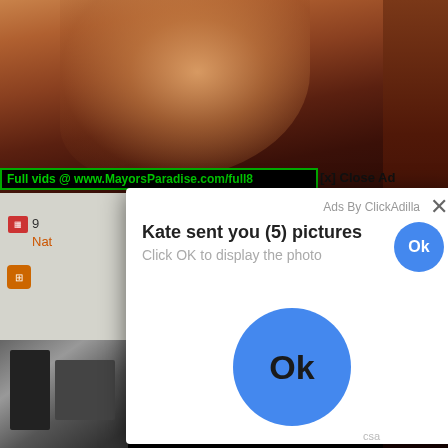[Figure (screenshot): Screenshot of a webpage showing an adult video site with a popup modal advertisement. The modal reads 'Kate sent you (5) pictures / Click OK to display the photo' with an Ok button. An ad banner reads 'Full vids @ www.MayorsParadise.com/full8' with '[x] Close Ad'. Bottom right shows 'csa' label. Background shows video thumbnail content behind the modal.]
Full vids @ www.MayorsParadise.com/full8
[x] Close Ad
Ads By ClickAdilla
Kate sent you (5) pictures
Click OK to display the photo
csa